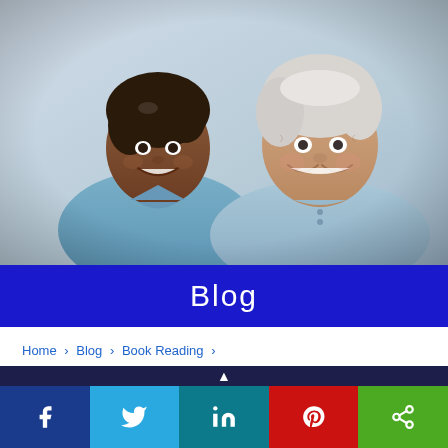[Figure (photo): Two women smiling — a nurse in blue scrubs and an elderly patient in a light blue top — photographed from slightly below in a healthcare setting.]
Blog
Home > Blog > Book Reading >
It's Time to Return to Book Reading